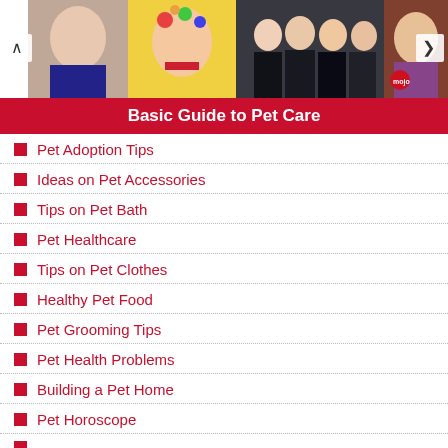[Figure (photo): Carousel of celebrity/entertainment photos with left and right navigation arrows]
Basic Guide to Pet Care
Pet Adoption Tips
Ideas on Pet Accessories
Tips on Pet Bath
Pet Healthcare
Tips on Pet Clothes
Healthy Pet Food
Pet Grooming Tips
Pet Health Problems
Building a Pet Home
Pet Horoscope